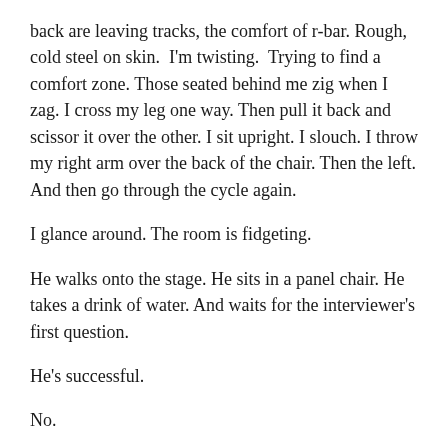back are leaving tracks, the comfort of r-bar. Rough, cold steel on skin.  I'm twisting.  Trying to find a comfort zone. Those seated behind me zig when I zag. I cross my leg one way. Then pull it back and scissor it over the other. I sit upright. I slouch. I throw my right arm over the back of the chair. Then the left. And then go through the cycle again.
I glance around. The room is fidgeting.
He walks onto the stage. He sits in a panel chair. He takes a drink of water. And waits for the interviewer's first question.
He's successful.
No.